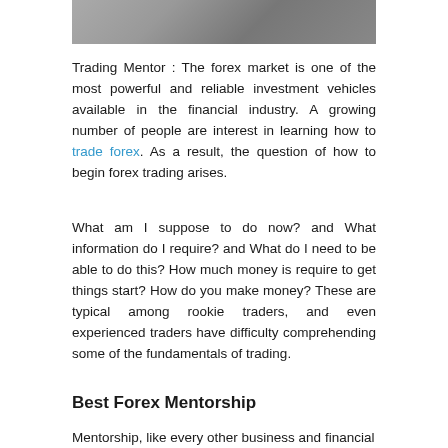[Figure (photo): Cropped photo of people, likely in a classroom or seminar setting, viewed from behind]
Trading Mentor : The forex market is one of the most powerful and reliable investment vehicles available in the financial industry. A growing number of people are interest in learning how to trade forex. As a result, the question of how to begin forex trading arises.
What am I suppose to do now? and What information do I require? and What do I need to be able to do this? How much money is require to get things start? How do you make money? These are typical among rookie traders, and even experienced traders have difficulty comprehending some of the fundamentals of trading.
Best Forex Mentorship
Mentorship, like every other business and financial